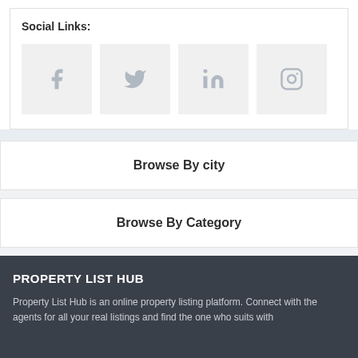Social Links:
[Figure (other): Four social media icon boxes: Facebook, Twitter, LinkedIn, Instagram — displayed as grey square tiles with icons]
Browse By city
Browse By Category
PROPERTY LIST HUB
Property List Hub is an online property listing platform. Connect with the agents for all your real listings and find the one who suits with